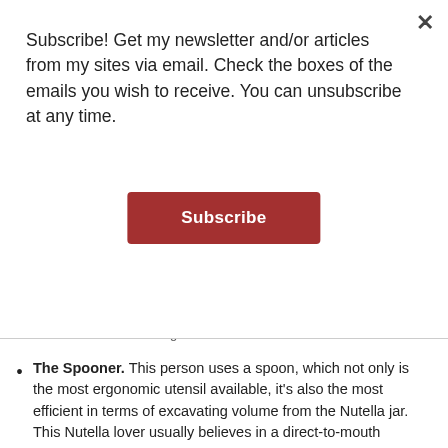Subscribe! Get my newsletter and/or articles from my sites via email. Check the boxes of the emails you wish to receive. You can unsubscribe at any time.
[Figure (other): Subscribe button - a red/dark-red rectangular button with white bold text reading 'Subscribe']
The Spooner. This person uses a spoon, which not only is the most ergonomic utensil available, it's also the most efficient in terms of excavating volume from the Nutella jar. This Nutella lover usually believes in a direct-to-mouth approach for the excavation.
The Naturalist (aka using one's Finger). Not only does this person not want anything between him and his Nutella, he truly believes eating it off the end of his finger brings him closer to Nutella-godliness. (Editor's note: clean hand recommended.)